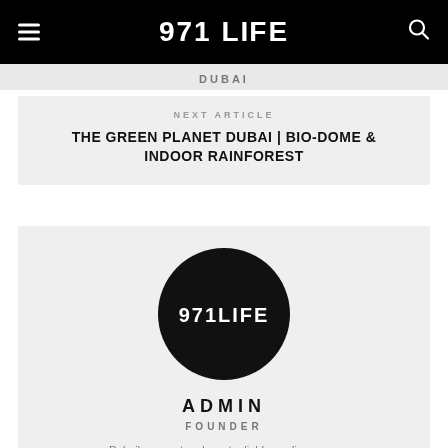971 LIFE
DUBAI
NEXT ARTICLE
THE GREEN PLANET DUBAI | BIO-DOME & INDOOR RAINFOREST
[Figure (logo): 971LIFE circular logo — black circle with white text 971LIFE in bold uppercase letters]
ADMIN
FOUNDER
Dubai's newest and most reliable media source